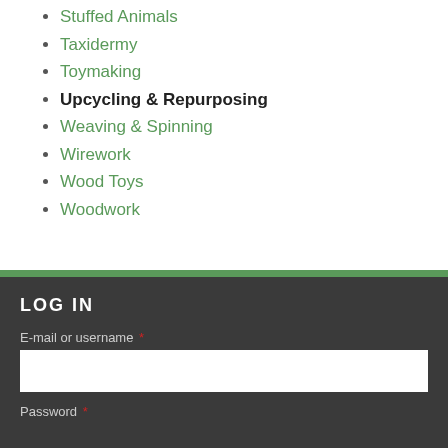Stuffed Animals
Taxidermy
Toymaking
Upcycling & Repurposing
Weaving & Spinning
Wirework
Wood Toys
Woodwork
LOG IN
E-mail or username *
Password *